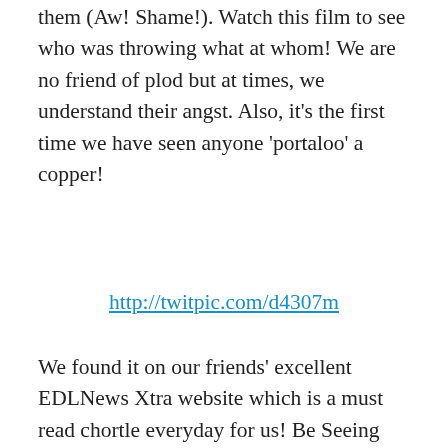them (Aw! Shame!). Watch this film to see who was throwing what at whom! We are no friend of plod but at times, we understand their angst. Also, it's the first time we have seen anyone 'portaloo' a copper!
http://twitpic.com/d4307m
We found it on our friends' excellent EDLNews Xtra website which is a must read chortle everyday for us! Be Seeing You!
PS: anyone reckon this is gonna happen?
[Figure (photo): Promotional banner image with dark red/maroon background showing a person figure on the left and bold yellow/gold text reading 'RETURN TO BRIGHTON SAINT EDMUND S DAY' and white text '20th NOVEMBER 2013' with partially visible text at top and bottom.]